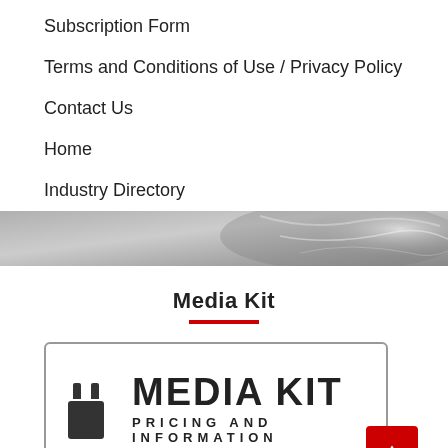Subscription Form
Terms and Conditions of Use / Privacy Policy
Contact Us
Home
Industry Directory
[Figure (photo): Grayscale decorative divider image with swirling texture]
Media Kit
[Figure (illustration): Media Kit promotional banner with plug icon, bold text MEDIA KIT and subtitle PRICING AND INFORMATION, with a red scroll-to-top button]